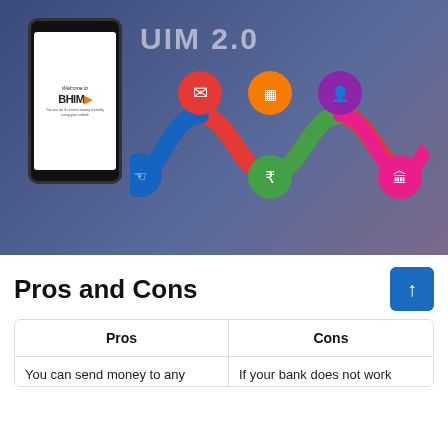[Figure (screenshot): BHIM UPI app screenshot and promotional graphic showing a smartphone displaying the BHIM app welcome screen alongside colorful UPI 2.0 feature icons connected by a winding path on a dark blue background.]
Pros and Cons
| Pros | Cons |
| --- | --- |
| You can send money to any | If your bank does not work |